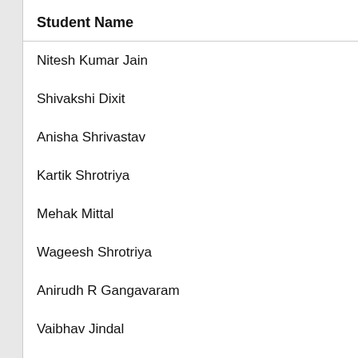| Student Name |
| --- |
| Nitesh Kumar Jain |
| Shivakshi Dixit |
| Anisha Shrivastav |
| Kartik Shrotriya |
| Mehak Mittal |
| Wageesh Shrotriya |
| Anirudh R Gangavaram |
| Vaibhav Jindal |
| Shruti Bansal |